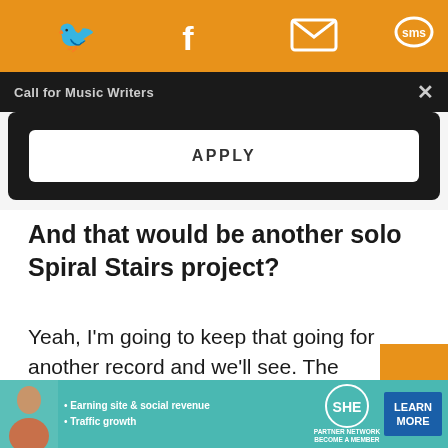[Figure (screenshot): Orange top bar with social media icons: Twitter, Facebook, email/envelope, SMS speech bubble, and a circular arrow icon, all in white on orange background]
Call for Music Writers
APPLY
And that would be another solo Spiral Stairs project?
Yeah, I'm going to keep that going for another record and we'll see. The Pavement stuff is going to be pretty full on starting next year.
[Figure (screenshot): Advertisement banner: SHE Partner Network - Earning site & social revenue, Traffic growth. Learn More button.]